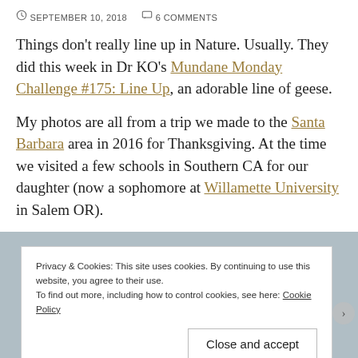SEPTEMBER 10, 2018   6 COMMENTS
Things don't really line up in Nature. Usually. They did this week in Dr KO's Mundane Monday Challenge #175: Line Up, an adorable line of geese.
My photos are all from a trip we made to the Santa Barbara area in 2016 for Thanksgiving. At the time we visited a few schools in Southern CA for our daughter (now a sophomore at Willamette University in Salem OR).
[Figure (photo): Partially visible photo with blue-grey background, overlaid by a cookie consent banner.]
Privacy & Cookies: This site uses cookies. By continuing to use this website, you agree to their use. To find out more, including how to control cookies, see here: Cookie Policy
Close and accept